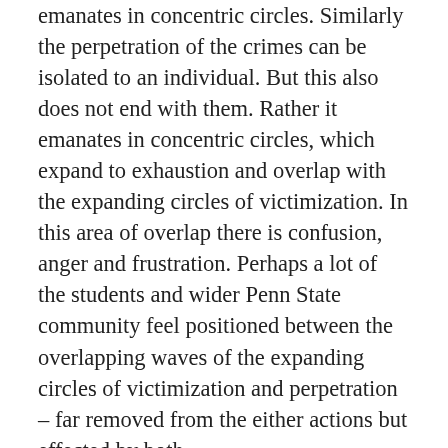emanates in concentric circles. Similarly the perpetration of the crimes can be isolated to an individual. But this also does not end with them. Rather it emanates in concentric circles, which expand to exhaustion and overlap with the expanding circles of victimization. In this area of overlap there is confusion, anger and frustration. Perhaps a lot of the students and wider Penn State community feel positioned between the overlapping waves of the expanding circles of victimization and perpetration – far removed from the either actions but effected by both.
From my observations, a bulk of the student body are experiencing deep confusion over these events, their place in them, who is to blame, and what can be done. Emotions for this institution, community, football and coach run deep. To see these sources of identity